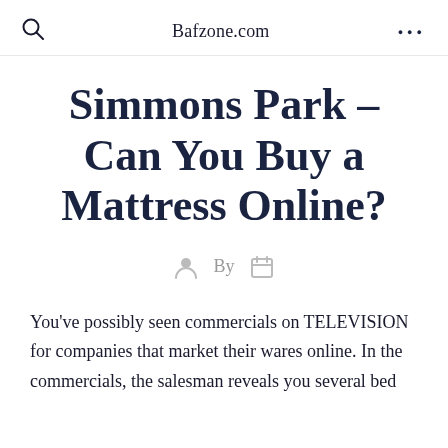Bafzone.com
Simmons Park – Can You Buy a Mattress Online?
By
You've possibly seen commercials on TELEVISION for companies that market their wares online. In the commercials, the salesman reveals you several bed